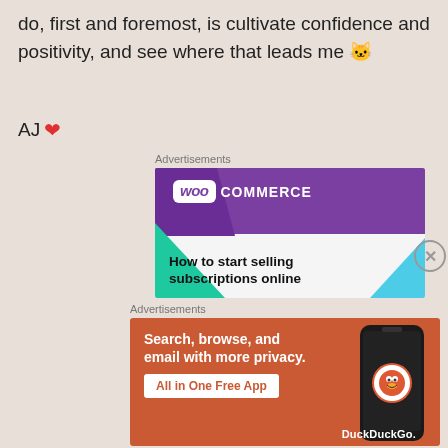do, first and foremost, is cultivate confidence and positivity, and see where that leads me 🐱
AJ ❤️
Advertisements
[Figure (advertisement): WooCommerce advertisement with purple banner and logo. Tagline: How to start selling subscriptions online]
Advertisements
[Figure (advertisement): DuckDuckGo advertisement on orange-red background. Text: Search, browse, and email with more privacy. All in One Free App. Shows phone with DuckDuckGo logo.]